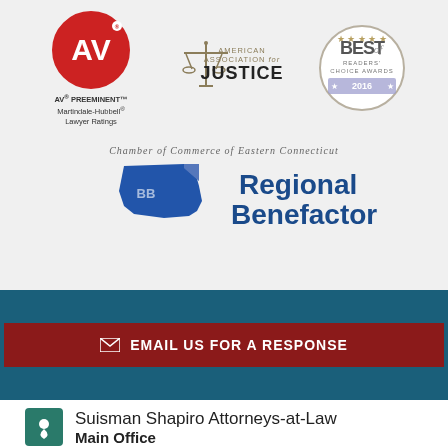[Figure (logo): AV Preeminent Martindale-Hubbell Lawyer Ratings red circle logo with AV letters]
[Figure (logo): American Association for Justice logo with scales of justice icon]
[Figure (logo): Best of Readers Choice Awards 2016 circular badge]
[Figure (logo): Chamber of Commerce of Eastern Connecticut Regional Benefactor logo with Connecticut state shape in blue]
EMAIL US FOR A RESPONSE
Suisman Shapiro Attorneys-at-Law
Main Office
Physical Location